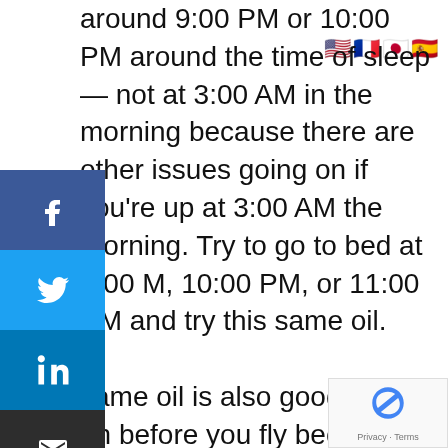around 9:00 PM or 10:00 PM around the time of sleep — not at 3:00 AM in the morning because there are other issues going on if you're up at 3:00 AM the morning. Try to go to bed at 9:00 M, 10:00 PM, or 11:00 PM and try this same oil. same oil is also good to put on before you fly because you're going be moving. Remember that Vata is the theme of movement. If people are
[Figure (infographic): Social share bar with Facebook, Twitter, LinkedIn, Email, and Print buttons on the left side]